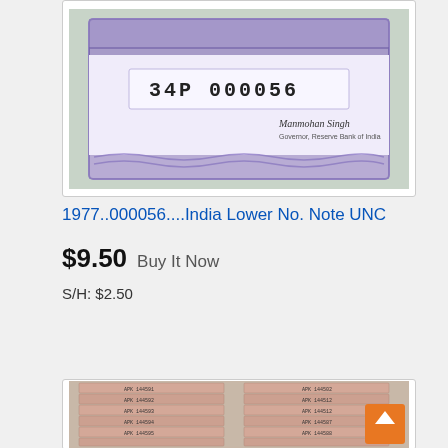[Figure (photo): Photo of an Indian banknote with serial number 34P 000056 and a signature, shown on a light greenish background]
1977..000056....India Lower No. Note UNC
$9.50  Buy It Now
S/H: $2.50
[Figure (photo): Photo showing a stack of Indian banknotes arranged in two columns, with sequential serial numbers visible, and an orange scroll-to-top button in the bottom right corner]